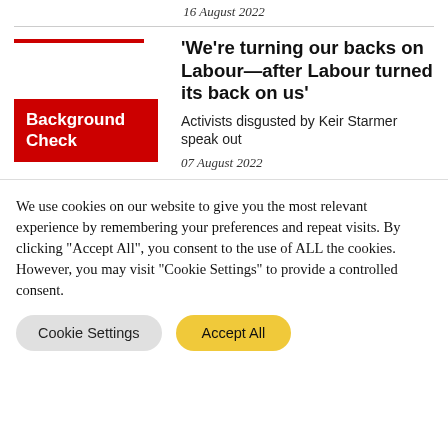16 August 2022
'We're turning our backs on Labour—after Labour turned its back on us'
Background Check
Activists disgusted by Keir Starmer speak out
07 August 2022
We use cookies on our website to give you the most relevant experience by remembering your preferences and repeat visits. By clicking "Accept All", you consent to the use of ALL the cookies. However, you may visit "Cookie Settings" to provide a controlled consent.
Cookie Settings
Accept All